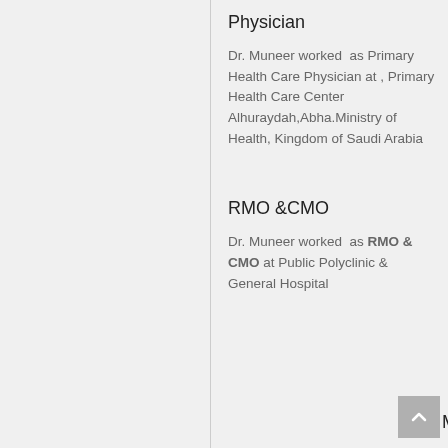Physician
Dr. Muneer worked as Primary Health Care Physician at , Primary Health Care Center Alhuraydah,Abha.Ministry of Health, Kingdom of Saudi Arabia
RMO &CMO
Dr. Muneer worked as RMO & CMO at Public Polyclinic & General Hospital
MBBS